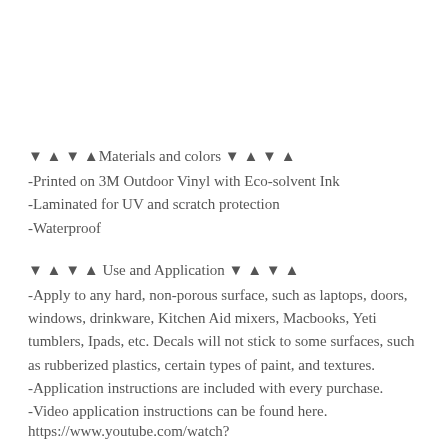▼ ▲ ▼ ▲ Materials and colors ▼ ▲ ▼ ▲
-Printed on 3M Outdoor Vinyl with Eco-solvent Ink
-Laminated for UV and scratch protection
-Waterproof
▼ ▲ ▼ ▲ Use and Application ▼ ▲ ▼ ▲
-Apply to any hard, non-porous surface, such as laptops, doors, windows, drinkware, Kitchen Aid mixers, Macbooks, Yeti tumblers, Ipads, etc. Decals will not stick to some surfaces, such as rubberized plastics, certain types of paint, and textures.
-Application instructions are included with every purchase.
-Video application instructions can be found here.
https://www.youtube.com/watch?